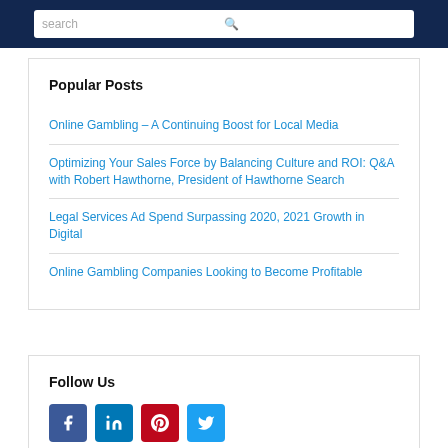search
Popular Posts
Online Gambling – A Continuing Boost for Local Media
Optimizing Your Sales Force by Balancing Culture and ROI: Q&A with Robert Hawthorne, President of Hawthorne Search
Legal Services Ad Spend Surpassing 2020, 2021 Growth in Digital
Online Gambling Companies Looking to Become Profitable
Follow Us
[Figure (infographic): Social media icons: Facebook, LinkedIn, Pinterest, Twitter]